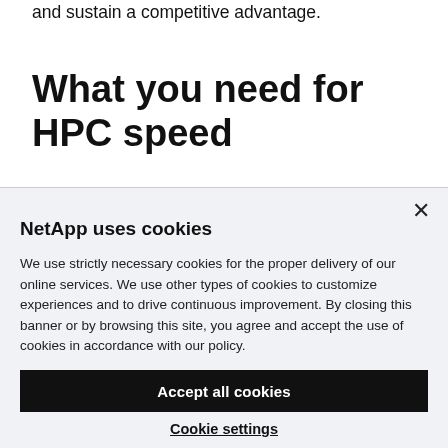and sustain a competitive advantage.
What you need for HPC speed
×
NetApp uses cookies
We use strictly necessary cookies for the proper delivery of our online services. We use other types of cookies to customize experiences and to drive continuous improvement. By closing this banner or by browsing this site, you agree and accept the use of cookies in accordance with our policy.
Accept all cookies
Cookie settings